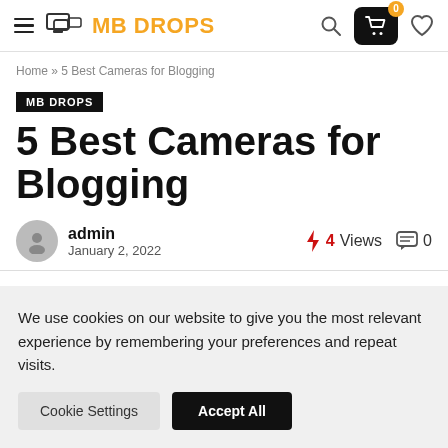MB DROPS
Home » 5 Best Cameras for Blogging
MB DROPS
5 Best Cameras for Blogging
admin · January 2, 2022 · 4 Views · 0 comments
We use cookies on our website to give you the most relevant experience by remembering your preferences and repeat visits.